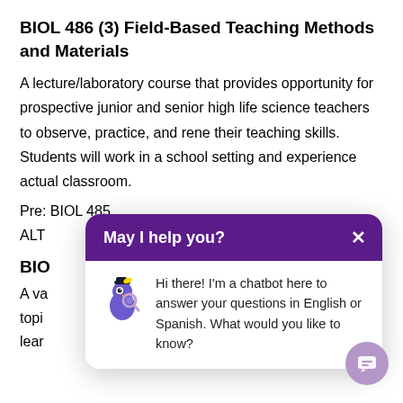BIOL 486 (3) Field-Based Teaching Methods and Materials
A lecture/laboratory course that provides opportunity for prospective junior and senior high life science teachers to observe, practice, and rene their teaching skills. Students will work in a school setting and experience actual classroom.
Pre: BIOL 485
ALT
BIO
A va cted topi ensi lear iological
[Figure (screenshot): Chatbot popup overlay with purple header reading 'May I help you?' with an X close button. Body shows a cartoon bird mascot and text: 'Hi there! I’m a chatbot here to answer your questions in English or Spanish. What would you like to know?' A purple circular chat button appears at bottom right.]